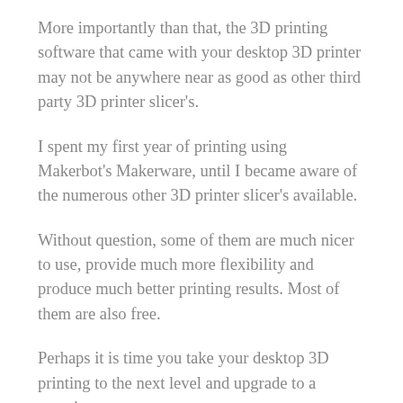More importantly than that, the 3D printing software that came with your desktop 3D printer may not be anywhere near as good as other third party 3D printer slicer's.
I spent my first year of printing using Makerbot's Makerware, until I became aware of the numerous other 3D printer slicer's available.
Without question, some of them are much nicer to use, provide much more flexibility and produce much better printing results. Most of them are also free.
Perhaps it is time you take your desktop 3D printing to the next level and upgrade to a superior